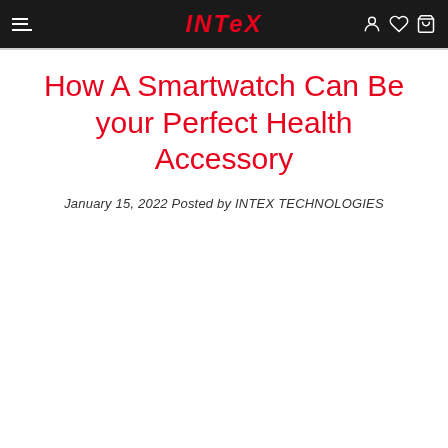INTEX
How A Smartwatch Can Be your Perfect Health Accessory
January 15, 2022 Posted by INTEX TECHNOLOGIES